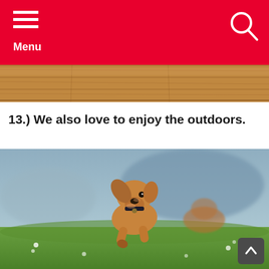Menu
[Figure (photo): Wooden floor/table surface strip at top of page]
13.) We also love to enjoy the outdoors.
[Figure (photo): A golden/tan dachshund puppy running on green grass outdoors with ears flapping, wearing a black collar, with a blurred blue-grey background]